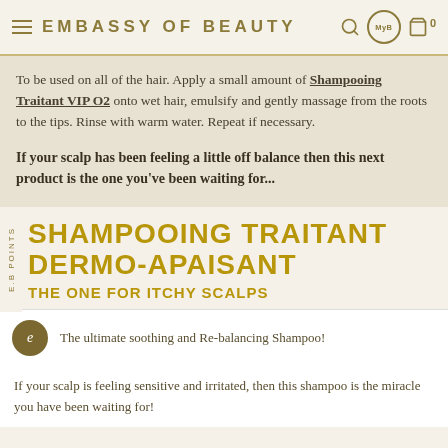EMBASSY OF BEAUTY
To be used on all of the hair. Apply a small amount of Shampooing Traitant VIP O2 onto wet hair, emulsify and gently massage from the roots to the tips. Rinse with warm water. Repeat if necessary.
If your scalp has been feeling a little off balance then this next product is the one you've been waiting for...
SHAMPOOING TRAITANT DERMO-APAISANT
THE ONE FOR ITCHY SCALPS
The ultimate soothing and Re-balancing Shampoo!
If your scalp is feeling sensitive and irritated, then this shampoo is the miracle you have been waiting for!